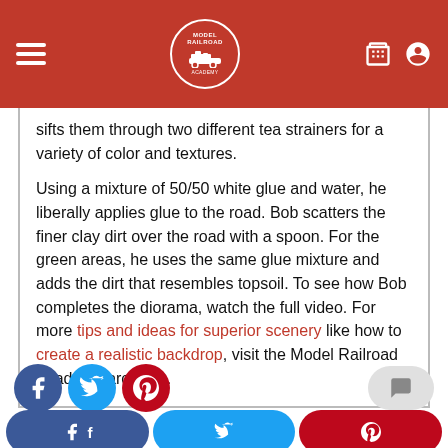Model Railroad Academy
sifts them through two different tea strainers for a variety of color and textures.

Using a mixture of 50/50 white glue and water, he liberally applies glue to the road. Bob scatters the finer clay dirt over the road with a spoon. For the green areas, he uses the same glue mixture and adds the dirt that resembles topsoil. To see how Bob completes the diorama, watch the full video. For more tips and ideas for superior scenery like how to create a realistic backdrop, visit the Model Railroad Academy archives.
[Figure (screenshot): Social media share icons: Facebook (blue circle), Twitter (blue circle), Pinterest (red circle), and a comment button (grey pill)]
[Figure (screenshot): Bottom share bar with Facebook, Twitter, and Pinterest pill-shaped buttons]